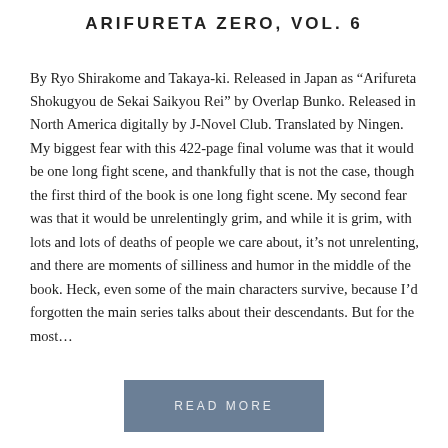ARIFURETA ZERO, VOL. 6
By Ryo Shirakome and Takaya-ki. Released in Japan as “Arifureta Shokugyou de Sekai Saikyou Rei” by Overlap Bunko. Released in North America digitally by J-Novel Club. Translated by Ningen. My biggest fear with this 422-page final volume was that it would be one long fight scene, and thankfully that is not the case, though the first third of the book is one long fight scene. My second fear was that it would be unrelentingly grim, and while it is grim, with lots and lots of deaths of people we care about, it’s not unrelenting, and there are moments of silliness and humor in the middle of the book. Heck, even some of the main characters survive, because I’d forgotten the main series talks about their descendants. But for the most…
READ MORE